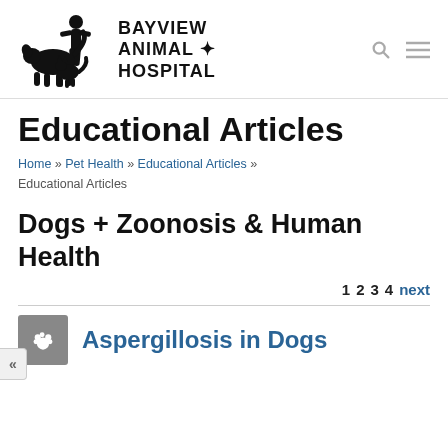[Figure (logo): Bayview Animal Hospital logo with silhouette of person sitting with dog and cat, beside bold text BAYVIEW ANIMAL HOSPITAL with a paw print icon]
Educational Articles
Home » Pet Health » Educational Articles » Educational Articles
Dogs + Zoonosis & Human Health
1  2  3  4  next
[Figure (illustration): Gray square icon with white paw print]
Aspergillosis in Dogs